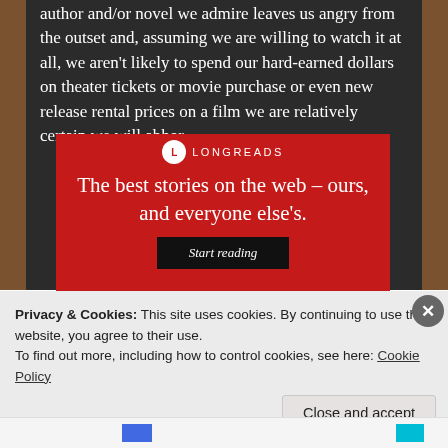author and/or novel we admire leaves us angry from the outset and, assuming we are willing to watch it at all, we aren't likely to spend our hard-earned dollars on theater tickets or movie purchase or even new release rental prices on a film we are relatively certain we will abhor.
[Figure (infographic): Red Longreads advertisement banner with white serif text reading 'The best stories on the web – ours, and everyone else's.' and a dark 'Start reading' button]
Privacy & Cookies: This site uses cookies. By continuing to use this website, you agree to their use.
To find out more, including how to control cookies, see here: Cookie Policy
Close and accept